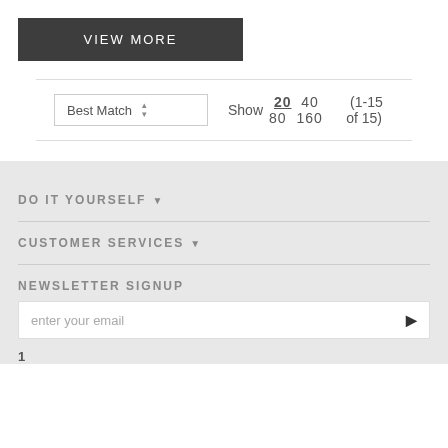VIEW MORE
Show 20 40 80 160 (1-15 of 15)
DO IT YOURSELF
CUSTOMER SERVICES
NEWSLETTER SIGNUP
enter your email